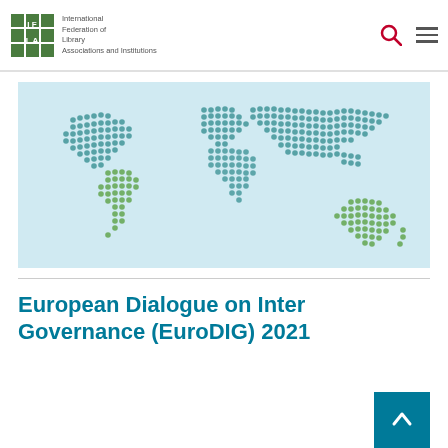IFLA International Federation of Library Associations and Institutions
[Figure (map): Dotted world map illustration on light blue background. Northern hemisphere continents shown in teal/blue dots, southern hemisphere continents in green dots.]
European Dialogue on Internet Governance (EuroDIG) 2021